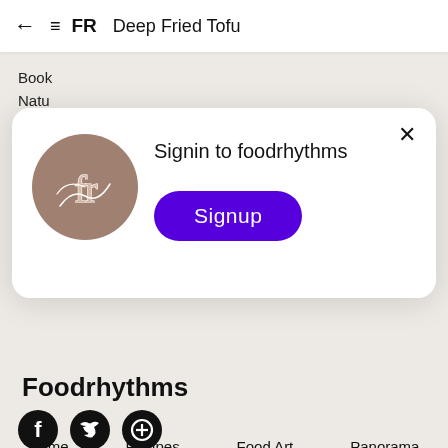← ≡ FR   Deep Fried Tofu
Book
Natu
savvy
[Figure (screenshot): Modal dialog with foodrhythms logo (brown circle with cursive 'fr'), text 'Signin to foodrhythms', X close button, and a purple 'Signup' button]
Foodrhythms
[Figure (other): Social media icons: Facebook, Twitter, Pinterest (black circles)]
Home
Recipes
Food Art
Panorama